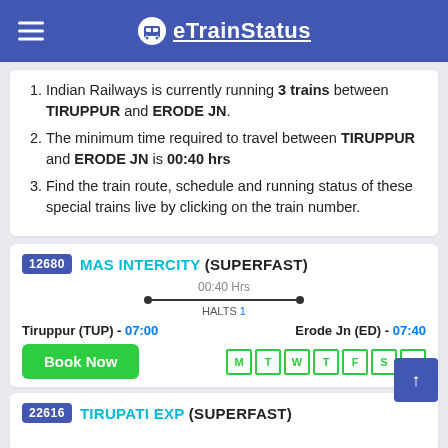eTrainStatus
Indian Railways is currently running 3 trains between TIRUPPUR and ERODE JN.
The minimum time required to travel between TIRUPPUR and ERODE JN is 00:40 hrs
Find the train route, schedule and running status of these special trains live by clicking on the train number.
12680 MAS INTERCITY (SUPERFAST) | 00:40 Hrs | HALTS 1 | Tiruppur (TUP) - 07:00 | Erode Jn (ED) - 07:40 | Days: M T W T F S S
22616 TIRUPATI EXP (SUPERFAST)